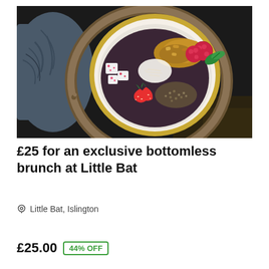[Figure (photo): Overhead shot of a food bowl containing granola, raspberries, dragon fruit, coconut, strawberries, seeds/lentils, and a mint leaf, placed on a bamboo steamer tray. Dark background with a decorative blue ceramic pot partially visible.]
£25 for an exclusive bottomless brunch at Little Bat
Little Bat, Islington
£25.00  44% OFF